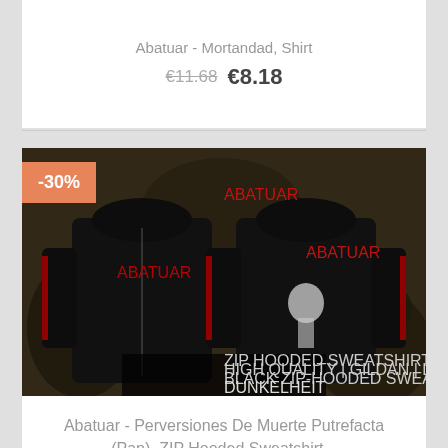Abatuar - Mortandad, Shirt
€11.68 €8.18
[Figure (photo): Product photo of Abatuar - Perversiones De Muerte Putrefacta (Pan) ZIP Hooded Sweatshirt showing front and back views of a black zip hoodie with band artwork, displayed with a -30% discount badge. Bottom text reads: ZIP HOODED SWEATSHIRTS HIGH QUALITY | GILDAN | LTD. 50 BLACK ZIP-HOODED SWEATSHIRT DUNKELHEIT PRODUCTIONS WWW.DUNKELHEIT.CC]
Abatuar - Perversiones De Muerte Putrefacta (Pan), ZIP Hooded Sweatshirt...